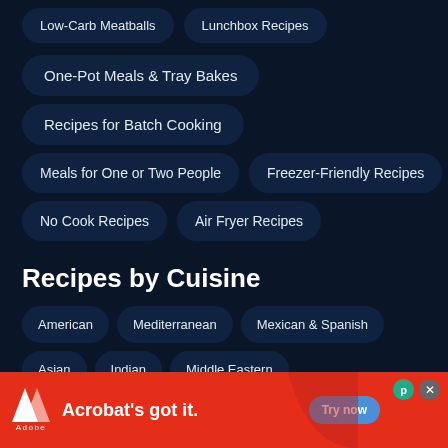Low-Carb Meatballs
Lunchbox Recipes
One-Pot Meals & Tray Bakes
Recipes for Batch Cooking
Meals for One or Two People
Freezer-Friendly Recipes
No Cook Recipes
Air Fryer Recipes
Recipes by Cuisine
American
Mediterranean
Mexican & Spanish
Asian
Indian
Middle Eastern
[Figure (screenshot): Adobe advertisement banner: Adobe logo on left, 'Acrobat's got it.' text in center, 'Try now' blue button on right, red background, close and P buttons top right.]